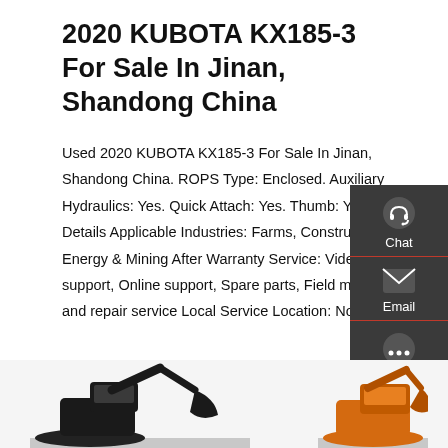2020 KUBOTA KX185-3 For Sale In Jinan, Shandong China
Used 2020 KUBOTA KX185-3 For Sale In Jinan, Shandong China. ROPS Type: Enclosed. Auxiliary Hydraulics: Yes. Quick Attach: Yes. Thumb: Yes. Quick Details Applicable Industries: Farms, Construction works, Energy & Mining After Warranty Service: Video technical support, Online support, Spare parts, Field maintenance and repair service Local Service Location: None …
[Figure (screenshot): Red 'Get a quote' button]
[Figure (screenshot): Dark sidebar panel with Chat, Email, and Contact icons and labels]
[Figure (photo): Bottom section showing partial images of Kubota KX185-3 excavators]